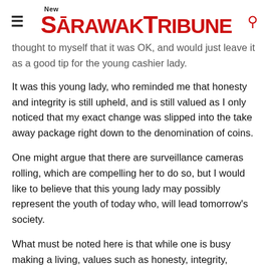New Sarawak Tribune
thought to myself that it was OK, and would just leave it as a good tip for the young cashier lady.
It was this young lady, who reminded me that honesty and integrity is still upheld, and is still valued as I only noticed that my exact change was slipped into the take away package right down to the denomination of coins.
One might argue that there are surveillance cameras rolling, which are compelling her to do so, but I would like to believe that this young lady may possibly represent the youth of today who, will lead tomorrow's society.
What must be noted here is that while one is busy making a living, values such as honesty, integrity, honour and